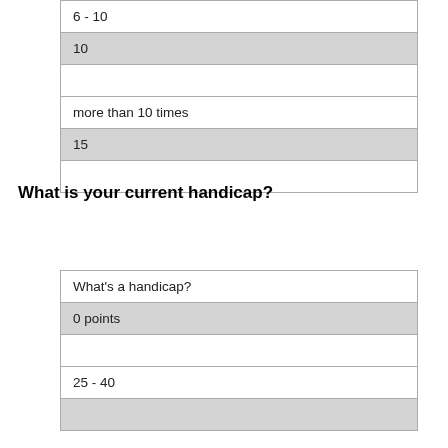| 6 - 10 |
| 10 |
|  |
| more than 10 times |
| 15 |
|  |
What is your current handicap?
| What's a handicap? |
| 0 points |
|  |
| 25 - 40 |
|  |